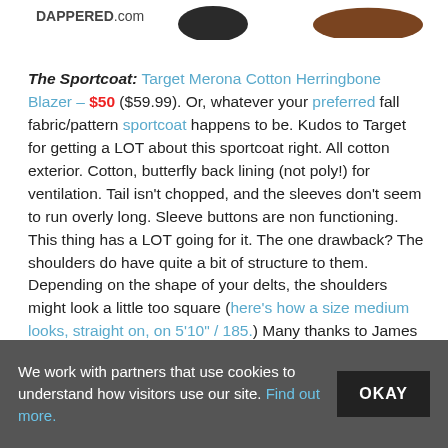DAPPERED.com
[Figure (photo): Partial images of two shoes/boots at top: a dark boot on the left and a brown leather boot on the right]
The Sportcoat: Target Merona Cotton Herringbone Blazer – $50 ($59.99). Or, whatever your preferred fall fabric/pattern sportcoat happens to be. Kudos to Target for getting a LOT about this sportcoat right. All cotton exterior. Cotton, butterfly back lining (not poly!) for ventilation. Tail isn't chopped, and the sleeves don't seem to run overly long. Sleeve buttons are non functioning. This thing has a LOT going for it. The one drawback? The shoulders do have quite a bit of structure to them. Depending on the shape of your delts, the shoulders might look a little too square (here's how a size medium looks, straight on, on 5'10" / 185.) Many thanks to James W. for the tip!
We work with partners that use cookies to understand how visitors use our site. Find out more.